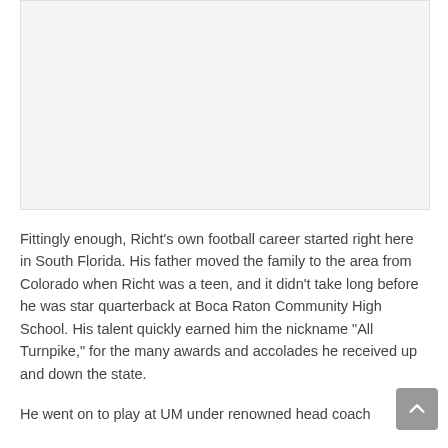[Figure (other): A large light gray rectangular image placeholder area at the top of the page]
Fittingly enough, Richt's own football career started right here in South Florida. His father moved the family to the area from Colorado when Richt was a teen, and it didn't take long before he was star quarterback at Boca Raton Community High School. His talent quickly earned him the nickname "All Turnpike," for the many awards and accolades he received up and down the state.
He went on to play at UM under renowned head coach